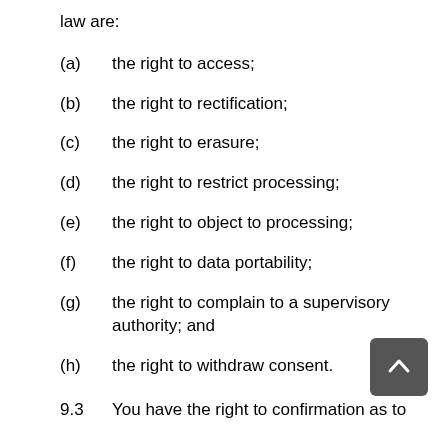law are:
(a)    the right to access;
(b)    the right to rectification;
(c)    the right to erasure;
(d)    the right to restrict processing;
(e)    the right to object to processing;
(f)    the right to data portability;
(g)    the right to complain to a supervisory authority; and
(h)    the right to withdraw consent.
9.3    You have the right to confirmation as to